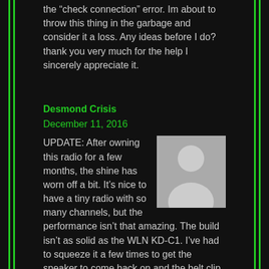the “check connection” error. Im about to throw this thing in the garbage and consider it a loss. Any ideas before I do? thank you very much for the help I sincerely appreciate it.
Desmond Crisis
December 11, 2016
[Figure (photo): Default user avatar placeholder image showing silhouette of a person on grey background]
UPDATE: After owning this radio for a few months, the shine has worn off a bit. It’s nice to have a tiny radio with so many channels, but the performance isn’t that amazing. The build isn’t as solid as the WLN KD-C1. I’ve had to squeeze it a few times to get the speaker to come back on and the belt clip on the back broke off after only a couple of weeks.
I had a project come up where I needed a handful of tiny radios and I chose the KD-C1’s over this model. This is still